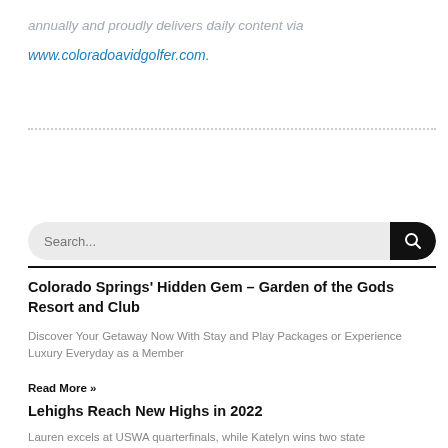annually and proudly delivers daily content via
www.coloradoavidgolfer.com.
[Figure (other): Dotted horizontal divider line]
[Figure (other): Search bar with text input placeholder 'Search...' and black search button with magnifying glass icon]
Colorado Springs' Hidden Gem – Garden of the Gods Resort and Club
Discover Your Getaway Now With Stay and Play Packages or Experience Luxury Everyday as a Member
Read More »
Lehighs Reach New Highs in 2022
Lauren excels at USWA quarterfinals, while Katelyn wins two state